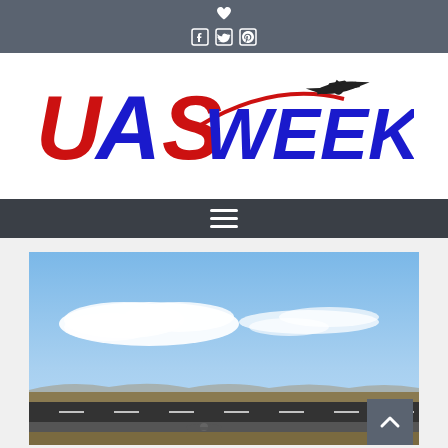UASWeekly.com website header with heart/favorite icon and social media icons (Facebook, Twitter, Pinterest)
[Figure (logo): UAS Weekly .com logo with red and blue lettering and a drone/UAV silhouette with a red swoosh arc]
Navigation bar with hamburger menu icon
[Figure (photo): Aerial/airport runway photo showing a clear blue sky with wispy white clouds and a flat tarmac/airfield, mountains visible on the horizon. A small drone or aircraft is barely visible on the runway.]